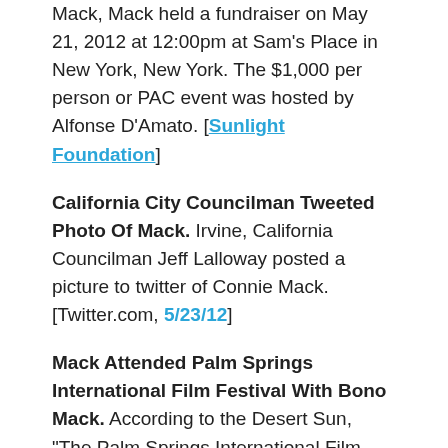Mack, Mack held a fundraiser on May 21, 2012 at 12:00pm at Sam's Place in New York, New York. The $1,000 per person or PAC event was hosted by Alfonse D'Amato. [Sunlight Foundation]
California City Councilman Tweeted Photo Of Mack. Irvine, California Councilman Jeff Lalloway posted a picture to twitter of Connie Mack. [Twitter.com, 5/23/12]
Mack Attended Palm Springs International Film Festival With Bono Mack. According to the Desert Sun, "The Palm Springs International Film Festival gala was grand, but the after-party was nothing to sneeze at. In fact, some of the town's most savvy partiers considered it to be the hot ticket of the festival... Nearby was the Cartier lounge, where power couples present included Congresswoman Mary Bono Mack and husband Connie Mack..." [Desert Sun, 1/15/12]